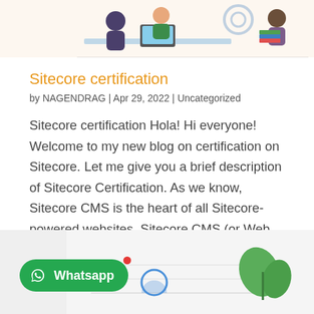[Figure (illustration): Partial illustration showing people working at computers, partly cropped at top of page]
Sitecore certification
by NAGENDRAG  |  Apr 29, 2022  |  Uncategorized
Sitecore certification Hola! Hi everyone! Welcome to my new blog on certification on Sitecore. Let me give you a brief description of Sitecore Certification. As we know, Sitecore CMS is the heart of all Sitecore-powered websites. Sitecore CMS (or Web CMS)is Sitecore…
[Figure (screenshot): Partial screenshot of a dashboard or chart with a green leaf/sprout illustration, partially visible at bottom of page. A WhatsApp button overlay is present.]